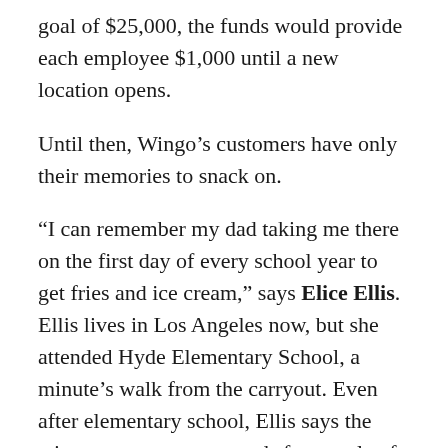goal of $25,000, the funds would provide each employee $1,000 until a new location opens.
Until then, Wingo’s customers have only their memories to snack on.
“I can remember my dad taking me there on the first day of every school year to get fries and ice cream,” says Elice Ellis. Ellis lives in Los Angeles now, but she attended Hyde Elementary School, a minute’s walk from the carryout. Even after elementary school, Ellis says the wing stop was a crossroads for people of different backgrounds.